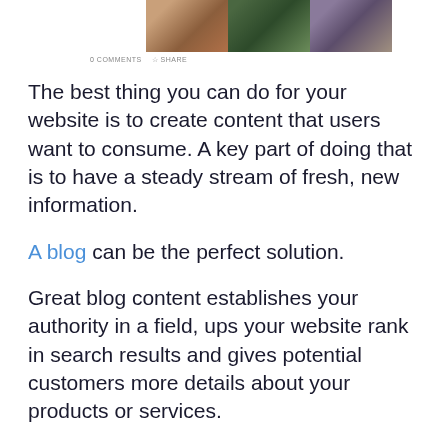[Figure (photo): Three fashion/lifestyle photos side by side at the top of the page]
0 COMMENTS   ☆ SHARE
The best thing you can do for your website is to create content that users want to consume. A key part of doing that is to have a steady stream of fresh, new information.
A blog can be the perfect solution.
Great blog content establishes your authority in a field, ups your website rank in search results and gives potential customers more details about your products or services.
Blog content should always directly relate to the main goals of your website. Publish